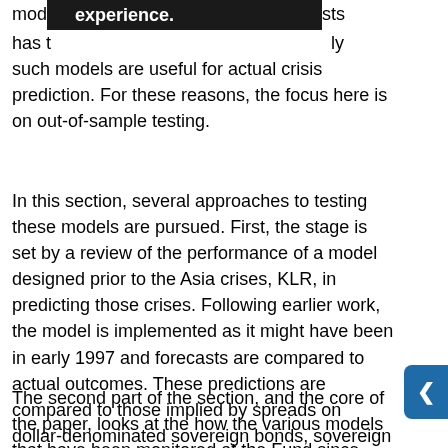mod[redacted]experience.[redacted]sts has t[redacted]ly such models are useful for actual crisis prediction. For these reasons, the focus here is on out-of-sample testing.
In this section, several approaches to testing these models are pursued. First, the stage is set by a review of the performance of a model designed prior to the Asia crises, KLR, in predicting those crises. Following earlier work, the model is implemented as it might have been in early 1997 and forecasts are compared to actual outcomes. These predictions are compared to those implied by spreads on dollar-denominated sovereign bonds, sovereign credit ratings, and also the assessments of currency crisis risks produced by country experts from the Economist Intelligence Unit (EIU). These results suggest that the EWS models show promise. The model decisively outperforms all the comparators in this period.
The second part of the section, and the core of the paper, looks at the how the various models that have been monitored at the Fund since early 1999 have